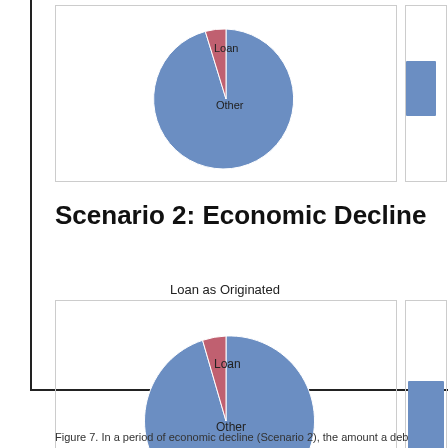[Figure (pie-chart): ]
Scenario 2: Economic Decline
Loan as Originated
[Figure (pie-chart): Loan as Originated]
Figure 7. In a period of economic decline (Scenario 2), the amount a deb